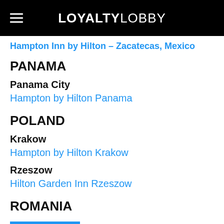LOYALTYLOBBY
Hampton Inn by Hilton – Zacatecas, Mexico
PANAMA
Panama City
Hampton by Hilton Panama
POLAND
Krakow
Hampton by Hilton Krakow
Rzeszow
Hilton Garden Inn Rzeszow
ROMANIA